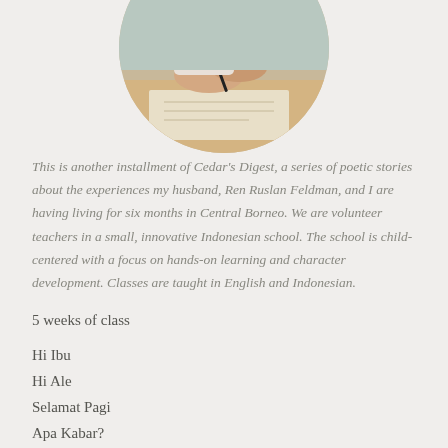[Figure (photo): Circular cropped photo of a person's hands writing on paper with a pen, a watch visible on one wrist, on a wooden surface.]
This is another installment of Cedar's Digest, a series of poetic stories about the experiences my husband, Ren Ruslan Feldman, and I are having living for six months in Central Borneo. We are volunteer teachers in a small, innovative Indonesian school. The school is child-centered with a focus on hands-on learning and character development. Classes are taught in English and Indonesian.
5 weeks of class
Hi Ibu
Hi Ale
Selamat Pagi
Apa Kabar?
Baik
Good morning
How are you? Fine.